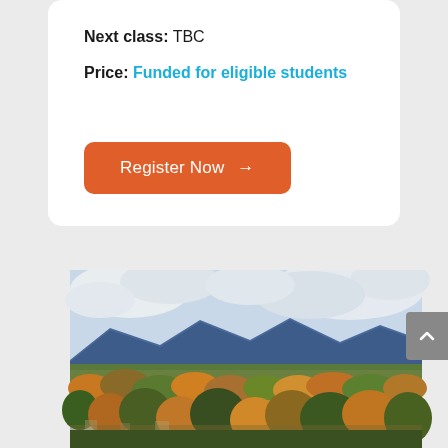Next class: TBC
Price: Funded for eligible students
Register Now →
[Figure (photo): Aerial view of a suburban city with autumn-coloured trees and a blue mountain range in the background under a partly cloudy sky.]